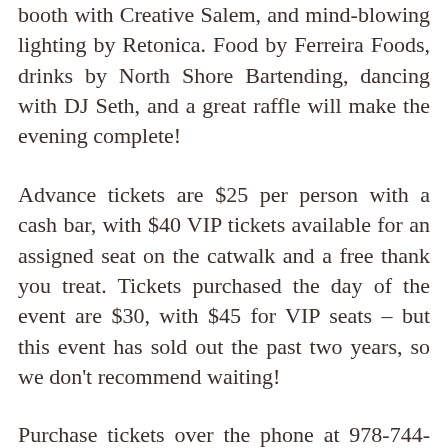booth with Creative Salem, and mind-blowing lighting by Retonica. Food by Ferreira Foods, drinks by North Shore Bartending, dancing with DJ Seth, and a great raffle will make the evening complete!
Advance tickets are $25 per person with a cash bar, with $40 VIP tickets available for an assigned seat on the catwalk and a free thank you treat. Tickets purchased the day of the event are $30, with $45 for VIP seats – but this event has sold out the past two years, so we don't recommend waiting!
Purchase tickets over the phone at 978-744-0004 x115, in person at 265 Essex Street